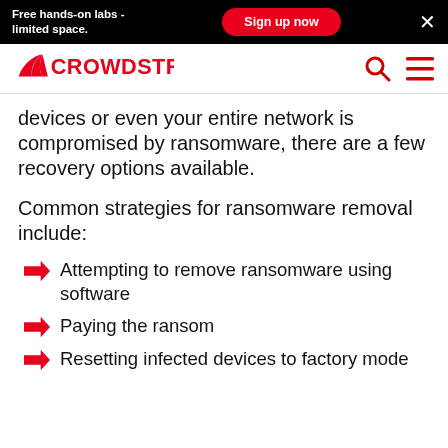Free hands-on labs - limited space. | Sign up now | ×
[Figure (logo): CrowdStrike logo in red with stylized wing mark]
devices or even your entire network is compromised by ransomware, there are a few recovery options available.
Common strategies for ransomware removal include:
Attempting to remove ransomware using software
Paying the ransom
Resetting infected devices to factory mode